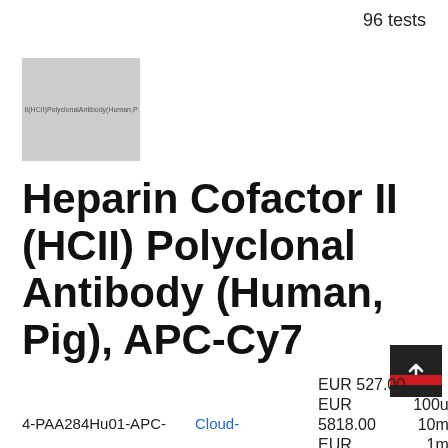96 tests
[Figure (photo): Product image placeholder showing text: II(HCII)PolyclonalAntibody(Human,P]
Heparin Cofactor II (HCII) Polyclonal Antibody (Human, Pig), APC-Cy7
EUR 527.00
EUR
5818.00
EUR
100ul
10ml
1ml
4-PAA284Hu01-APC-
Cloud-